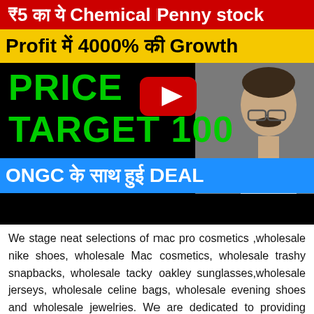[Figure (screenshot): YouTube video thumbnail showing financial/stock content in Hindi and English. Red banner at top with Hindi text about Chemical Penny stock. Yellow banner with text 'Profit में 4000% की Growth'. Black background section with green text 'PRICE' and 'TARGET 100'. Blue banner with Hindi text 'ONGC के साथ हुई DEAL'. YouTube play button in center. Photo of a man on the right side.]
We stage neat selections of mac pro cosmetics ,wholesale nike shoes, wholesale Mac cosmetics, wholesale trashy snapbacks, wholesale tacky oakley sunglasses,wholesale jerseys, wholesale celine bags, wholesale evening shoes and wholesale jewelries. We are dedicated to providing ratio charge, vogue erect,